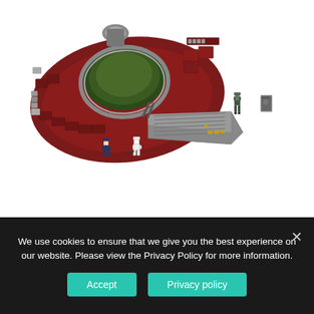[Figure (photo): LEGO Slave I (Firespray-31 class attack craft) set, showing the large dark red and green spacecraft model with minifigures including Boba Fett, an Imperial officer in blue, a Stormtrooper, and Han Solo in carbonite.]
The Slave I is a modded Firespray-31 class attack craft, famously used by Boba Fett, and Jango Fett. The design of the model is a good compromise of the SNOT style and
We use cookies to ensure that we give you the best experience on our website. Please view the Privacy Policy for more information.